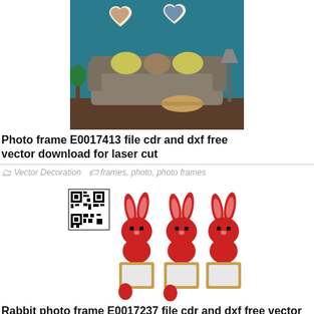[Figure (photo): Photo frame E0017413 – interior room scene with teal wall, grey sofa, yellow cushions, and two heart-shaped wooden photo frames on the wall]
Photo frame E0017413 file cdr and dxf free vector download for laser cut
Vector Decoration   frames, photo, photo frames
[Figure (photo): Rabbit photo frame E0017237 – three red bunny-shaped laser-cut frames with wooden photo frame bases and Christmas accessory decorations, plus QR code]
Rabbit photo frame E0017237 file cdr and dxf free vector